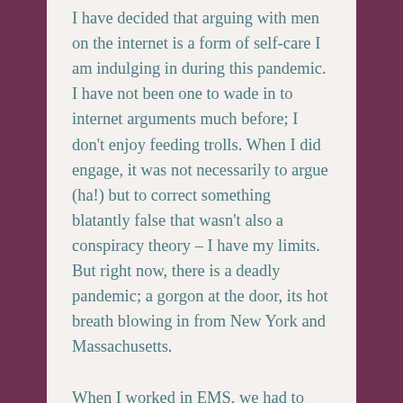I have decided that arguing with men on the internet is a form of self-care I am indulging in during this pandemic. I have not been one to wade in to internet arguments much before; I don't enjoy feeding trolls. When I did engage, it was not necessarily to argue (ha!) but to correct something blatantly false that wasn't also a conspiracy theory – I have my limits. But right now, there is a deadly pandemic; a gorgon at the door, its hot breath blowing in from New York and Massachusetts.
When I worked in EMS, we had to prepare for blizzards and hurricanes, and in 2014, for the possibility of Ebola finding its way to us. My counterparts made the necessary arrangements and backup plans but teased my high level of